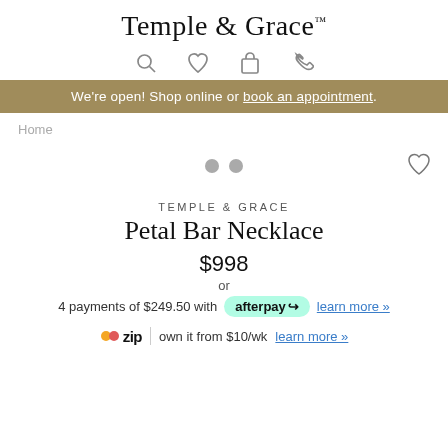Temple & Grace™
We're open! Shop online or book an appointment.
Home
TEMPLE & GRACE
Petal Bar Necklace
$998
or
4 payments of $249.50 with afterpay learn more »
zip | own it from $10/wk learn more »